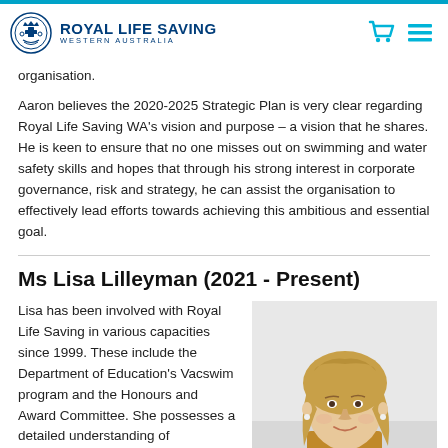[Figure (logo): Royal Life Saving Western Australia logo with circular emblem and text]
organisation.
Aaron believes the 2020-2025 Strategic Plan is very clear regarding Royal Life Saving WA's vision and purpose – a vision that he shares. He is keen to ensure that no one misses out on swimming and water safety skills and hopes that through his strong interest in corporate governance, risk and strategy, he can assist the organisation to effectively lead efforts towards achieving this ambitious and essential goal.
Ms Lisa Lilleyman (2021 - Present)
Lisa has been involved with Royal Life Saving in various capacities since 1999. These include the Department of Education's Vacswim program and the Honours and Award Committee. She possesses a detailed understanding of
[Figure (photo): Portrait photo of Lisa Lilleyman, a woman with blonde hair wearing a black top]